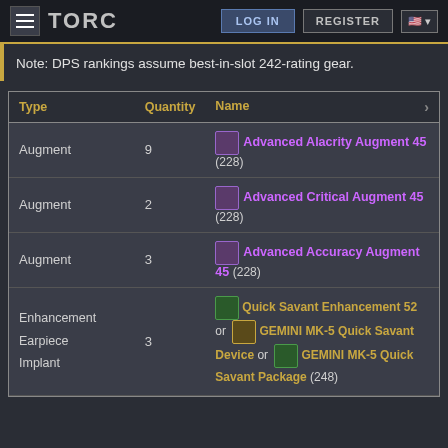TORC | LOG IN | REGISTER
Note: DPS rankings assume best-in-slot 242-rating gear.
| Type | Quantity | Name |
| --- | --- | --- |
| Augment | 9 | Advanced Alacrity Augment 45 (228) |
| Augment | 2 | Advanced Critical Augment 45 (228) |
| Augment | 3 | Advanced Accuracy Augment 45 (228) |
| Enhancement / Earpiece / Implant | 3 | Quick Savant Enhancement 52 or GEMINI MK-5 Quick Savant Device or GEMINI MK-5 Quick Savant Package (248) |